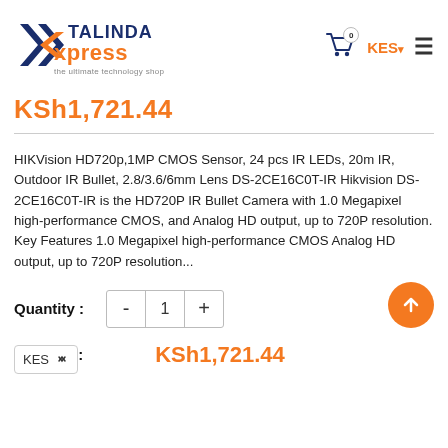[Figure (logo): Talinda Xpress logo - the ultimate technology shop]
KSh1,721.44
HIKVision HD720p,1MP CMOS Sensor, 24 pcs IR LEDs, 20m IR, Outdoor IR Bullet, 2.8/3.6/6mm Lens DS-2CE16C0T-IR Hikvision DS-2CE16C0T-IR is the HD720P IR Bullet Camera with 1.0 Megapixel high-performance CMOS, and Analog HD output, up to 720P resolution. Key Features 1.0 Megapixel high-performance CMOS Analog HD output, up to 720P resolution...
Quantity : 1
Subtotal : KSh1,721.44